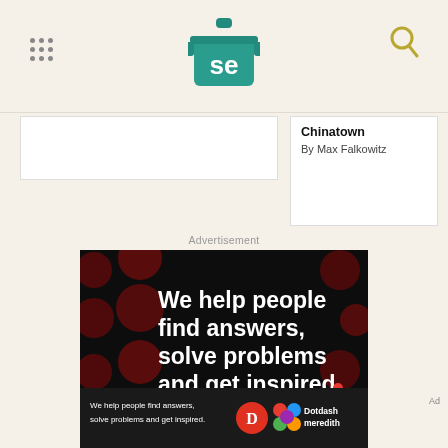Serious Eats header with logo
Chinatown
By Max Falkowitz
Advertisement
[Figure (photo): Dotdash Meredith advertisement: dark background with red polka dots, large white bold text reading 'We help people find answers, solve problems and get inspired.' with 'LEARN MORE' call to action and Dotdash 'D' logo and Meredith colorful flower logo]
[Figure (photo): Dotdash Meredith bottom banner ad: 'We help people find answers, solve problems and get inspired.' with Dotdash and Meredith logos on dark background]